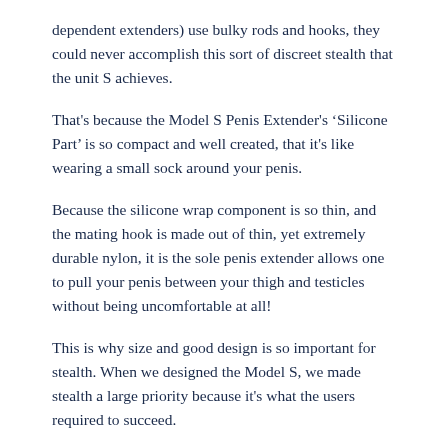dependent extenders) use bulky rods and hooks, they could never accomplish this sort of discreet stealth that the unit S achieves.
That's because the Model S Penis Extender's ‘Silicone Part’ is so compact and well created, that it's like wearing a small sock around your penis.
Because the silicone wrap component is so thin, and the mating hook is made out of thin, yet extremely durable nylon, it is the sole penis extender allows one to pull your penis between your thigh and testicles without being uncomfortable at all!
This is why size and good design is so important for stealth. When we designed the Model S, we made stealth a large priority because it's what the users required to succeed.